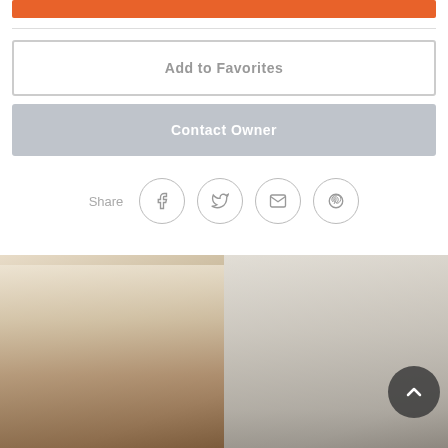[Figure (screenshot): Orange action button at top of a real estate listing widget]
Add to Favorites
Contact Owner
Share
[Figure (infographic): Social share icons: Facebook, Twitter, Email, Pinterest]
[Figure (photo): Two interior photos of an apartment: living room on left, bedroom on right, with a back-to-top button overlay]